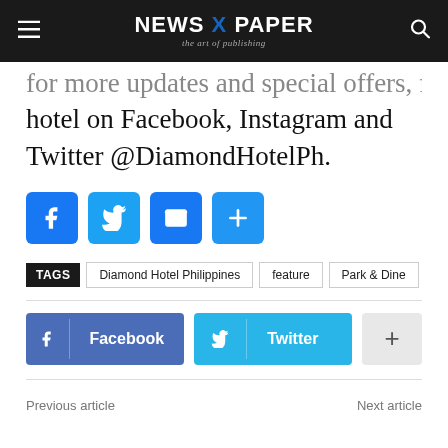NEWS X PAPER — the art of publishing
hotel on Facebook, Instagram and Twitter @DiamondHotelPh.
[Figure (other): Social share icon buttons: Facebook, Twitter, Email, Plus]
TAGS  Diamond Hotel Philippines  feature  Park & Dine
[Figure (other): Social share buttons: Facebook, Twitter, plus button]
Previous article    Next article